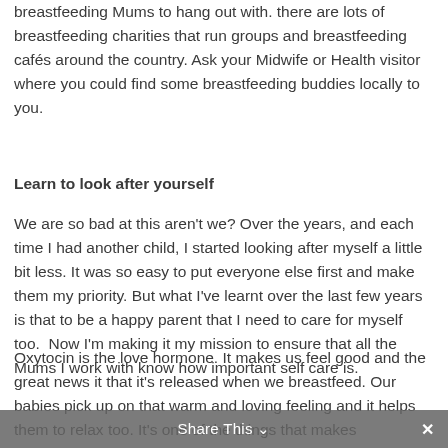breastfeeding Mums to hang out with. there are lots of breastfeeding charities that run groups and breastfeeding cafés around the country. Ask your Midwife or Health visitor where you could find some breastfeeding buddies locally to you.
Learn to look after yourself
We are so bad at this aren't we? Over the years, and each time I had another child, I started looking after myself a little bit less. It was so easy to put everyone else first and make them my priority. But what I've learnt over the last few years is that to be a happy parent that I need to care for myself too.  Now I'm making it my mission to ensure that all the Mums I work with know how important self care is.
Oxytocin is the love hormone. It makes us feel good and the great news it that it's released when we breastfeed. Our babies pick up on that warm and loving feeling and it helps them to relax too. It's one of the things that makes breastfeeding so special. It's also the
Share This ∨   ✕